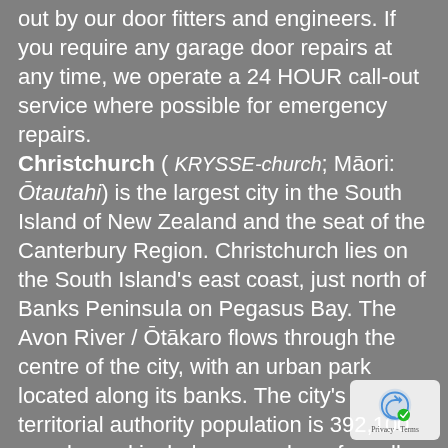out by our door fitters and engineers. If you require any garage door repairs at any time, we operate a 24 HOUR call-out service where possible for emergency repairs. Christchurch ( KRYSSE-church; Māori: Ōtautahi) is the largest city in the South Island of New Zealand and the seat of the Canterbury Region. Christchurch lies on the South Island's east coast, just north of Banks Peninsula on Pegasus Bay. The Avon River / Ōtākaro flows through the centre of the city, with an urban park located along its banks. The city's territorial authority population is 392,100 people, and includes a number of smaller urban areas as well as rural areas. The population of the urban area is 380,600 people. Christchurch is the second-largest city by urban area population in New Zealand, after Auckland. Christchurch is the major urban area of an emerging sub-region known informally as Greater Christchurch. Notable smaller urban areas within this sub-region include Rangiora and Kaiapoi